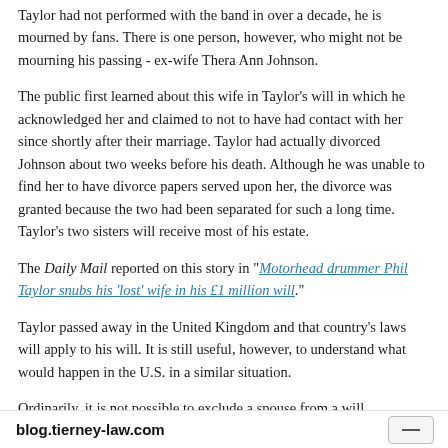Taylor had not performed with the band in over a decade, he is mourned by fans. There is one person, however, who might not be mourning his passing - ex-wife Thera Ann Johnson.
The public first learned about this wife in Taylor's will in which he acknowledged her and claimed to not to have had contact with her since shortly after their marriage. Taylor had actually divorced Johnson about two weeks before his death. Although he was unable to find her to have divorce papers served upon her, the divorce was granted because the two had been separated for such a long time. Taylor's two sisters will receive most of his estate.
The Daily Mail reported on this story in "Motorhead drummer Phil Taylor snubs his 'lost' wife in his £1 million will."
Taylor passed away in the United Kingdom and that country's laws will apply to his will. It is still useful, however, to understand what would happen in the U.S. in a similar situation.
Ordinarily, it is not possible to exclude a spouse from a will completely. A spouse who is excluded can accept that decision or he or she can choose to take a portion of the estate that is called a "spousal elective share." The portion varies from state to state and length of marriage, but it is normally 50%.
blog.tierney-law.com